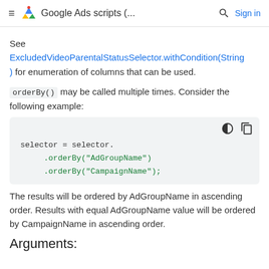Google Ads scripts (... Sign in
See ExcludedVideoParentalStatusSelector.withCondition(String) for enumeration of columns that can be used.
orderBy() may be called multiple times. Consider the following example:
[Figure (screenshot): Code block showing: selector = selector.
    .orderBy("AdGroupName")
    .orderBy("CampaignName");]
The results will be ordered by AdGroupName in ascending order. Results with equal AdGroupName value will be ordered by CampaignName in ascending order.
Arguments: